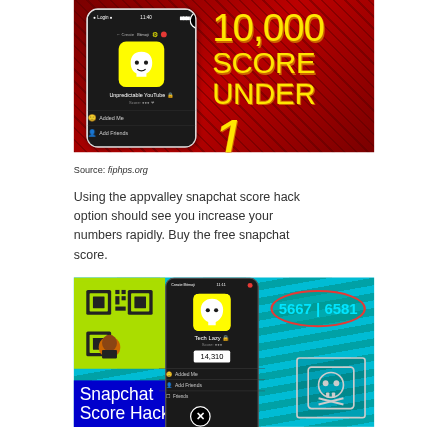[Figure (screenshot): Snapchat phone screenshot on red textured background with yellow text '10,000 SCORE UNDER 1 MINUTE']
Source: fiphps.org
Using the appvalley snapchat score hack option should see you increase your numbers rapidly. Buy the free snapchat score.
[Figure (screenshot): Snapchat score hack image showing QR code profile with score 5667|6581 in red oval, phone screen showing score 14,310, and skull/crossbones icon. Text reads 'Snapchat Score Hack']